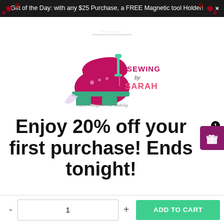Gift of the Day: with any $25 Purchase, a FREE Magnetic tool Holder!
[Figure (logo): Sewing by Sarah logo with pink sewing machine illustration and tagline 'There's Magic in the Making']
Enjoy 20% off your first purchase! Ends tonight!
ADD TO CART